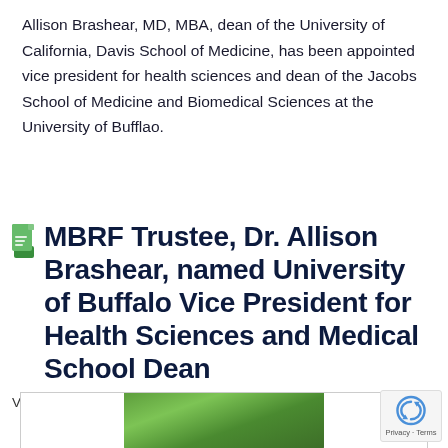Allison Brashear, MD, MBA, dean of the University of California, Davis School of Medicine, has been appointed vice president for health sciences and dean of the Jacobs School of Medicine and Biomedical Sciences at the University of Bufflao.
MBRF Trustee, Dr. Allison Brashear, named University of Buffalo Vice President for Health Sciences and Medical School Dean
Valerie Patmintra / November 17, 2021 / News
[Figure (photo): Partial view of a photo showing green foliage/trees, cropped at the bottom of the page]